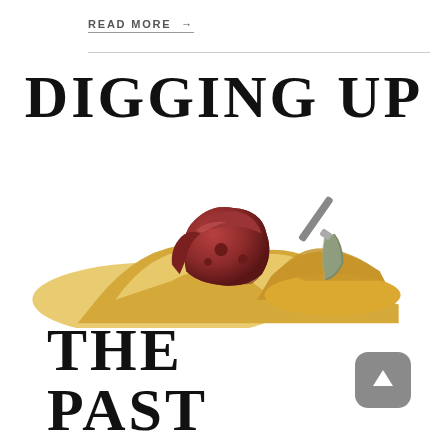READ MORE →
[Figure (illustration): Book cover illustration showing the title 'Digging Up The Past' with archaeological artifacts: broken red pottery shards and sandy mounds with an archaeological trowel, plus an up-arrow share button icon in the bottom right corner.]